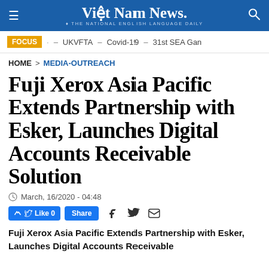Viet Nam News. THE NATIONAL ENGLISH LANGUAGE DAILY
FOCUS - UKVFTA - Covid-19 - 31st SEA Gan
HOME > MEDIA-OUTREACH
Fuji Xerox Asia Pacific Extends Partnership with Esker, Launches Digital Accounts Receivable Solution
March, 16/2020 - 04:48
Like 0  Share
Fuji Xerox Asia Pacific Extends Partnership with Esker, Launches Digital Accounts Receivable